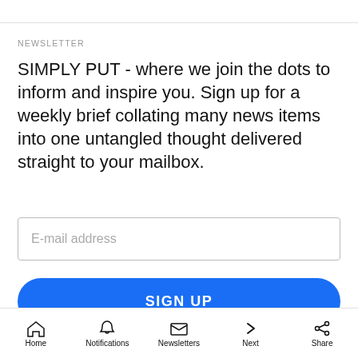NEWSLETTER
SIMPLY PUT - where we join the dots to inform and inspire you. Sign up for a weekly brief collating many news items into one untangled thought delivered straight to your mailbox.
E-mail address
SIGN UP
By clicking 'Sign up' you agree to receive marketing emails from Insider as well as
Home  Notifications  Newsletters  Next  Share